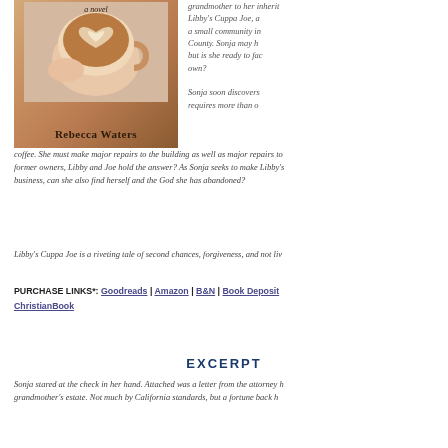[Figure (photo): Book cover of Libby's Cuppa Joe by Rebecca Waters, showing a hand holding a latte art coffee cup with a novel label at the top]
grandmother to her... Libby's Cuppa Joe, a small community in County. Sonja may h... but is she ready to fac... own?
Sonja soon discovers... requires more than o... coffee. She must make major repairs to the building as well as major repairs to... former owners, Libby and Joe hold the answer? As Sonja seeks to make Libby's... business, can she also find herself and the God she has abandoned?
Libby's Cuppa Joe is a riveting tale of second chances, forgiveness, and not liv...
PURCHASE LINKS*: Goodreads | Amazon | B&N | Book Deposit... ChristianBook
EXCERPT
Sonja stared at the check in her hand. Attached was a letter from the attorney h... grandmother's estate. Not much by California standards, but a fortune back h...